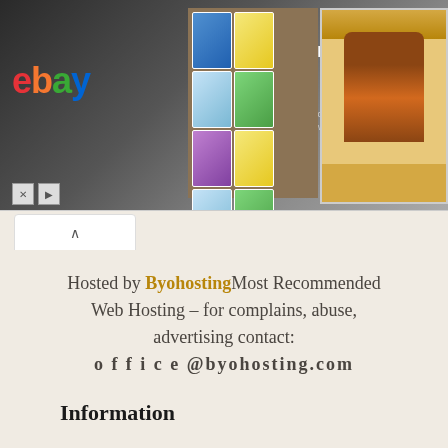[Figure (screenshot): eBay advertisement banner showing 'Vault your cards today and save' with Pokemon cards and baseball card images]
Hosted by ByohostingMost Recommended Web Hosting – for complains, abuse, advertising contact: o f f i c e @byohosting.com
Information